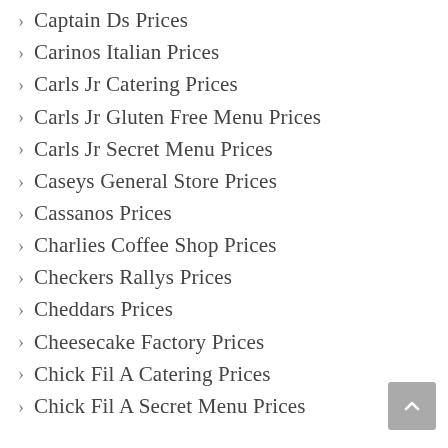Cafe Romeo Prices
Captain Ds Prices
Carinos Italian Prices
Carls Jr Catering Prices
Carls Jr Gluten Free Menu Prices
Carls Jr Secret Menu Prices
Caseys General Store Prices
Cassanos Prices
Charlies Coffee Shop Prices
Checkers Rallys Prices
Cheddars Prices
Cheesecake Factory Prices
Chick Fil A Catering Prices
Chick Fil A Secret Menu Prices